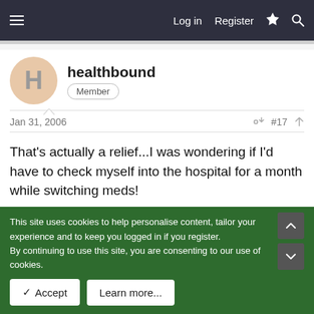Log in   Register
healthbound
Member
Jan 31, 2006   #17
That's actually a relief...I was wondering if I'd have to check myself into the hospital for a month while switching meds!

However, one last question...even though effexor is an SNRI - it is still similar enough to the SSRI's that I could over-lap them?
This site uses cookies to help personalise content, tailor your experience and to keep you logged in if you register.
By continuing to use this site, you are consenting to our use of cookies.